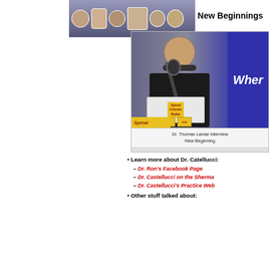[Figure (photo): Spinal Column Radio Club banner with group photos and yellow badges]
New Beginnings
[Figure (photo): Dr. Thomas Lamar interviewing at New Beginnings, man at microphone with Spinal Column Radio laptop sign, blue flag in background]
Dr. Thomas Lamar interview at New Beginnings
Learn more about Dr. Catellucci:
– Dr. Ron's Facebook Page
– Dr. Castellucci on the Sherma...
– Dr. Castellucci's Practice Web...
• Other stuff talked about: